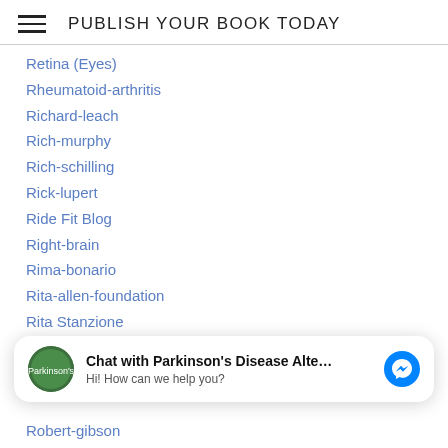PUBLISH YOUR BOOK TODAY
Retina (Eyes)
Rheumatoid-arthritis
Richard-leach
Rich-murphy
Rich-schilling
Rick-lupert
Ride Fit Blog
Right-brain
Rima-bonario
Rita-allen-foundation
Rita Stanzione
Rkgon
Robbi Sherwin
Chat with Parkinson's Disease Alte... Hi! How can we help you?
Robert-gibson